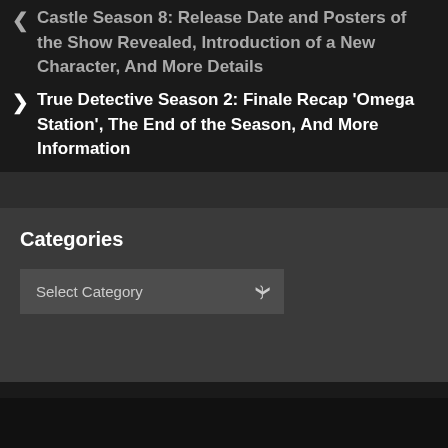Castle Season 8: Release Date and Posters of the Show Revealed, Introduction of a New Character, And More Details
True Detective Season 2: Finale Recap 'Omega Station', The End of the Season, And More Information
Categories
Select Category